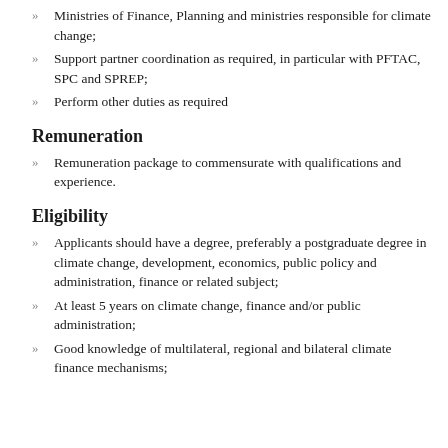Ministries of Finance, Planning and ministries responsible for climate change;
Support partner coordination as required, in particular with PFTAC, SPC and SPREP;
Perform other duties as required
Remuneration
Remuneration package to commensurate with qualifications and experience.
Eligibility
Applicants should have a degree, preferably a postgraduate degree in climate change, development, economics, public policy and administration, finance or related subject;
At least 5 years on climate change, finance and/or public administration;
Good knowledge of multilateral, regional and bilateral climate finance mechanisms;